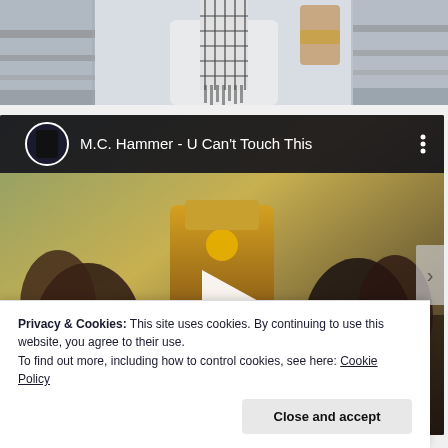[Figure (photo): Top portion of a photo showing a person in white outfit with a decorative scarf/vest, standing near a railing. Cropped to show torso and lower face.]
[Figure (screenshot): YouTube video embed showing M.C. Hammer - U Can't Touch This music video thumbnail with play button. Video header shows avatar icon and title text.]
Privacy & Cookies: This site uses cookies. By continuing to use this website, you agree to their use.
To find out more, including how to control cookies, see here: Cookie Policy
Close and accept